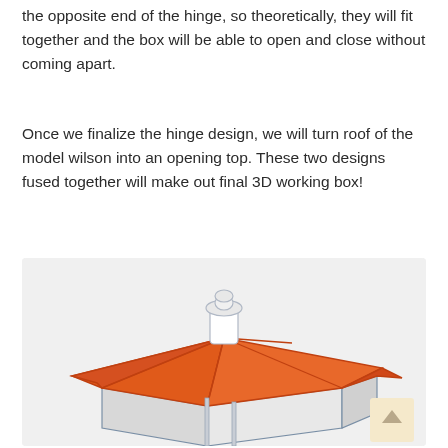the opposite end of the hinge, so theoretically, they will fit together and the box will be able to open and close without coming apart.
Once we finalize the hinge design, we will turn roof of the model wilson into an opening top. These two designs fused together will make out final 3D working box!
[Figure (illustration): 3D model illustration of a house with an orange/red hip roof and a white cylindrical chimney on top. The house walls are white/light gray and the roof panels are orange. The image shows the top and side view of the model house, with a scroll-to-top button in the bottom right corner.]